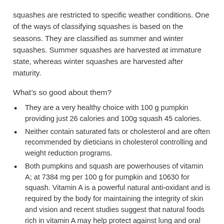squashes are restricted to specific weather conditions. One of the ways of classifying squashes is based on the seasons. They are classified as summer and winter squashes. Summer squashes are harvested at immature state, whereas winter squashes are harvested after maturity.
What’s so good about them?
They are a very healthy choice with 100 g pumpkin providing just 26 calories and 100g squash 45 calories.
Neither contain saturated fats or cholesterol and are often recommended by dieticians in cholesterol controlling and weight reduction programs.
Both pumpkins and squash are powerhouses of vitamin A; at 7384 mg per 100 g for pumpkin and 10630 for squash. Vitamin A is a powerful natural anti-oxidant and is required by the body for maintaining the integrity of skin and vision and recent studies suggest that natural foods rich in vitamin A may help protect against lung and oral